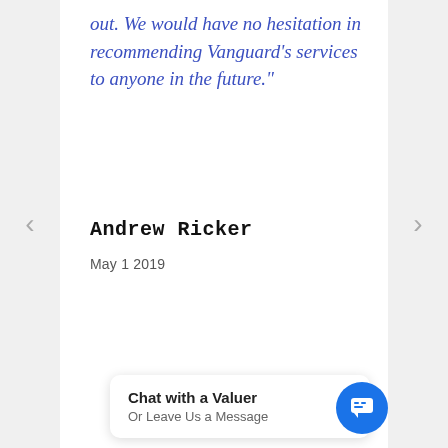out. We would have no hesitation in recommending Vanguard's services to anyone in the future."
Andrew Ricker
May 1 2019
Chat with a Valuer
Or Leave Us a Message